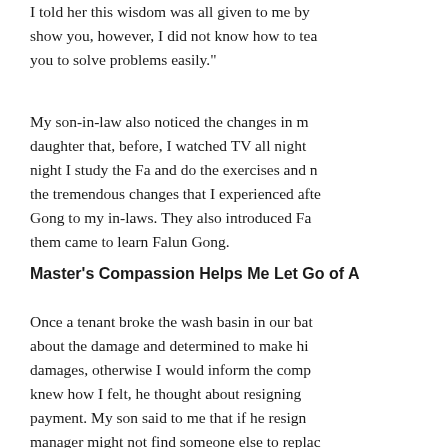I told her this wisdom was all given to me by show you, however, I did not know how to tea you to solve problems easily."
My son-in-law also noticed the changes in m daughter that, before, I watched TV all night night I study the Fa and do the exercises and m the tremendous changes that I experienced afte Gong to my in-laws. They also introduced Fa them came to learn Falun Gong.
Master's Compassion Helps Me Let Go of A
Once a tenant broke the wash basin in our bat about the damage and determined to make hi damages, otherwise I would inform the comp knew how I felt, he thought about resigning payment. My son said to me that if he resign manager might not find someone else to replac